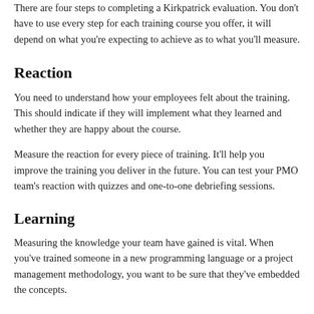There are four steps to completing a Kirkpatrick evaluation. You don't have to use every step for each training course you offer, it will depend on what you're expecting to achieve as to what you'll measure.
Reaction
You need to understand how your employees felt about the training. This should indicate if they will implement what they learned and whether they are happy about the course.
Measure the reaction for every piece of training. It'll help you improve the training you deliver in the future. You can test your PMO team's reaction with quizzes and one-to-one debriefing sessions.
Learning
Measuring the knowledge your team have gained is vital. When you've trained someone in a new programming language or a project management methodology, you want to be sure that they've embedded the concepts.